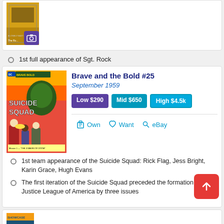[Figure (illustration): Partial comic book cover image at top with purple image gallery icon overlay]
1st full appearance of Sgt. Rock
[Figure (illustration): Brave and the Bold #25 Suicide Squad comic book cover, September 1959, showing characters in action scene]
Brave and the Bold #25
September 1959
Low $290   Mid $650   High $4.5k
Own   Want   eBay
1st team appearance of the Suicide Squad: Rick Flag, Jess Bright, Karin Grace, Hugh Evans
The first iteration of the Suicide Squad preceded the formation of the Justice League of America by three issues
[Figure (illustration): Partial Showcase #22 comic book cover visible at bottom]
Showcase #22